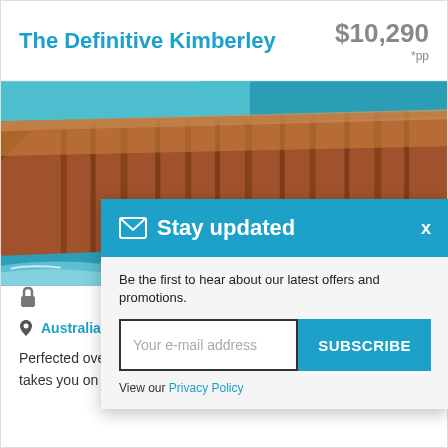The Definitive Kimberley
$10,290 *pp
[Figure (photo): Aerial view of red sandstone coastal cliffs meeting turquoise ocean waves in the Kimberley region of Australia]
Stay updated
Be the first to hear about our latest offers and promotions.
Your e-mail address
SUBSCRIBE
View our Privacy Policy
Australia & NZ (Australia)
Perfected over three decades, this 10-night Kimberley cruise takes you on an unforgettable journey between Bro...